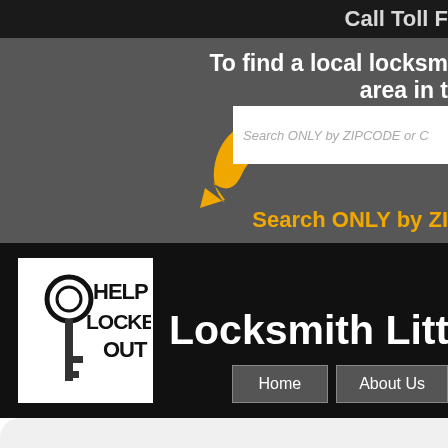Call Toll F
To find a local locksm area in t
[Figure (illustration): Orange crescent arrow icon pointing right/down]
Search ONLY by ZIPCODE or C
Search ONLY by ZI
[Figure (logo): Help Locked Out logo with key and magnifying glass icon, text reads HELP LOCKED OUT]
Locksmith Little Ro
Home
About Us